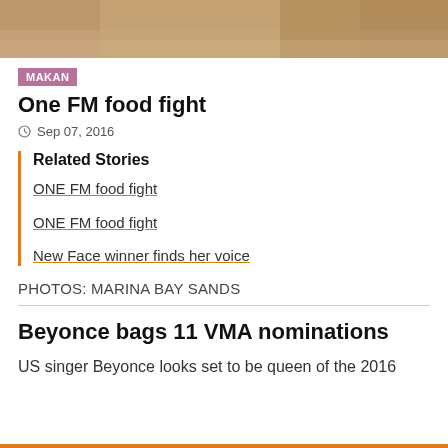[Figure (photo): Partial top image of wooden cutting board or food-related scene, cropped at top]
MAKAN
One FM food fight
Sep 07, 2016
Related Stories
ONE FM food fight
ONE FM food fight
New Face winner finds her voice
PHOTOS: MARINA BAY SANDS
Beyonce bags 11 VMA nominations
US singer Beyonce looks set to be queen of the 2016